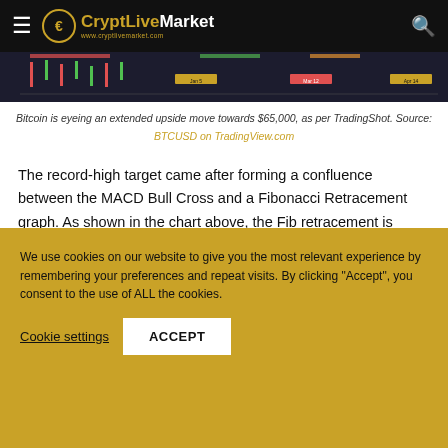CryptLiveMarket — www.cryptlivemarket.com
[Figure (screenshot): Partial Bitcoin (BTCUSD) candlestick chart screenshot from TradingView showing price data with MACD and Fibonacci indicators]
Bitcoin is eyeing an extended upside move towards $65,000, as per TradingShot. Source: BTCUSD on TradingView.com
The record-high target came after forming a confluence between the MACD Bull Cross and a Fibonacci Retracement graph. As shown in the chart above, the Fib retracement is formed from a swing high level to a swing low level, which creates a set of upside and downside targets alongside.
We use cookies on our website to give you the most relevant experience by remembering your preferences and repeat visits. By clicking "Accept", you consent to the use of ALL the cookies.